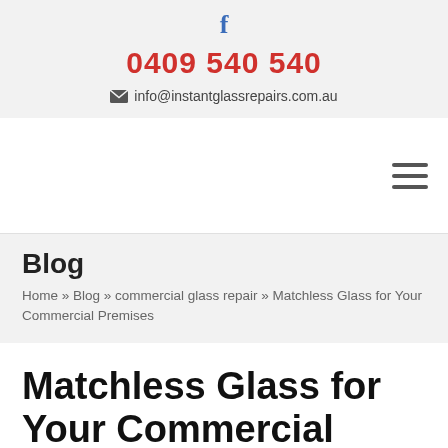f
0409 540 540
info@instantglassrepairs.com.au
[Figure (other): Navigation bar with hamburger menu icon (three horizontal lines) on the right side]
Blog
Home » Blog » commercial glass repair » Matchless Glass for Your Commercial Premises
Matchless Glass for Your Commercial Premises